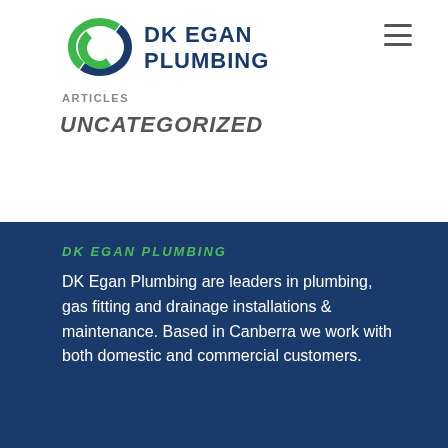[Figure (logo): DK Egan Plumbing logo with green swirl/S shape and blue bold text 'DK EGAN PLUMBING']
ARTICLES
UNCATEGORIZED
DK EGAN PLUMBING
DK Egan Plumbing are leaders in plumbing, gas fitting and drainage installations & maintenance. Based in Canberra we work with both domestic and commercial customers.